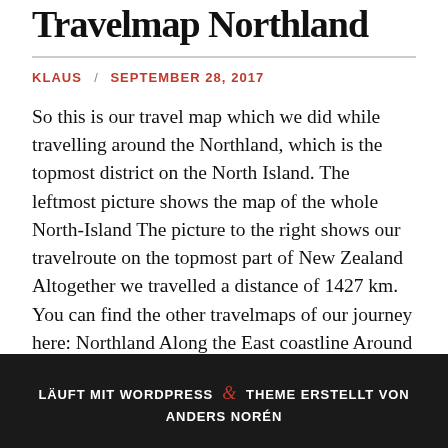Travelmap Northland
KLAUS / SEPTEMBER 28, 2017
So this is our travel map which we did while travelling around the Northland, which is the topmost district on the North Island. The leftmost picture shows the map of the whole North-Island The picture to the right shows our travelroute on the topmost part of New Zealand Altogether we travelled a distance of 1427 km. You can find the other travelmaps of our journey here: Northland Along the East coastline Around the East Cape Trip to Coromandel Short Trips around Horowhenua The
READ MORE [...]
LÄUFT MIT WORDPRESS & THEME ERSTELLT VON ANDERS NORÉN